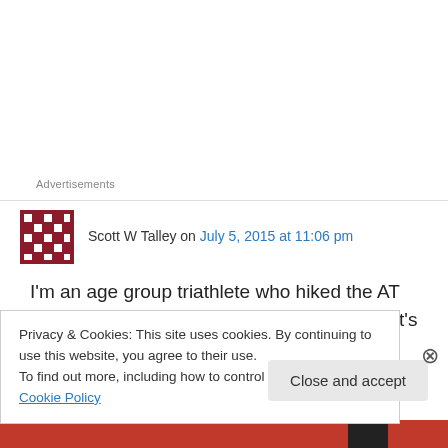Advertisements
Scott W Talley on July 5, 2015 at 11:06 pm
I'm an age group triathlete who hiked the AT years ago when I was in my early 20's. Scott's run is an unfathomable feat. I can't imagine anyone having anything but admiration for it. It's so impressive to see the outer limits of human
Privacy & Cookies: This site uses cookies. By continuing to use this website, you agree to their use.
To find out more, including how to control cookies, see here: Cookie Policy
Close and accept